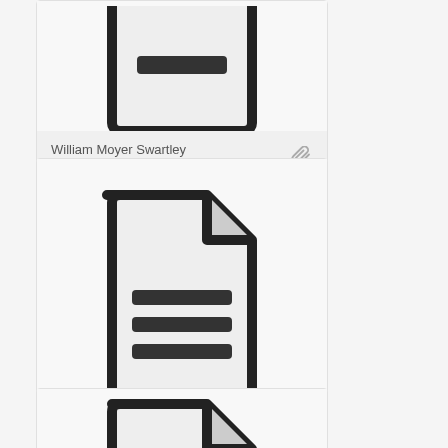[Figure (screenshot): Card with document icon (partially visible at top) for William Moyer Swartley fonds]
William Moyer Swartley fonds
[Figure (screenshot): Card with full document/text file icon for Albert Tucker fonds]
Albert Tucker fonds
[Figure (screenshot): Card with document icon (partially visible at bottom)]